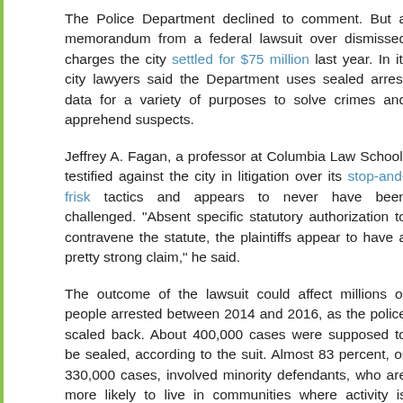The Police Department declined to comment. But a memorandum from a federal lawsuit over dismissed charges the city settled for $75 million last year. In it, city lawyers said the Department uses sealed arrest data for a variety of purposes to solve crimes and apprehend suspects.
Jeffrey A. Fagan, a professor at Columbia Law School, testified against the city in litigation over its stop-and-frisk tactics and appears to never have been challenged. "Absent specific statutory authorization to contravene the statute, the plaintiffs appear to have a pretty strong claim," he said.
The outcome of the lawsuit could affect millions of people arrested between 2014 and 2016, as the police scaled back. About 400,000 cases were supposed to be sealed, according to the suit. Almost 83 percent, or 330,000 cases, involved minority defendants, who are more likely to live in communities where activity is highest and for whom being arrested can have a profound impact on their employment, housing, immigration status, and other benefits.